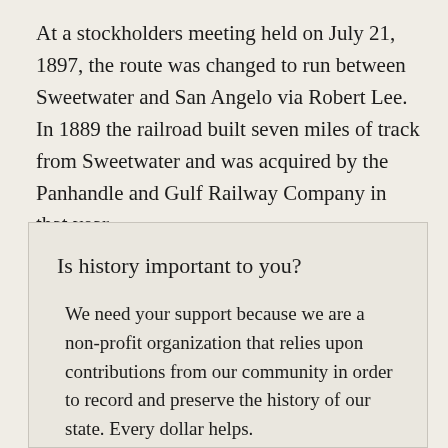At a stockholders meeting held on July 21, 1897, the route was changed to run between Sweetwater and San Angelo via Robert Lee. In 1889 the railroad built seven miles of track from Sweetwater and was acquired by the Panhandle and Gulf Railway Company in that year.
Is history important to you?
We need your support because we are a non-profit organization that relies upon contributions from our community in order to record and preserve the history of our state. Every dollar helps.